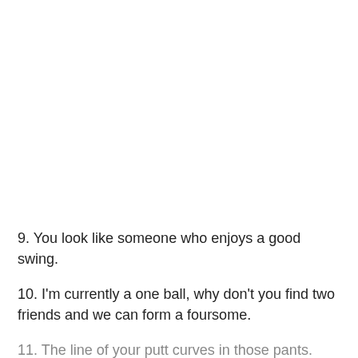9. You look like someone who enjoys a good swing.
10. I'm currently a one ball, why don't you find two friends and we can form a foursome.
11. The line of your putt curves in those pants.
12. My golf number may be high, but grab my phone number